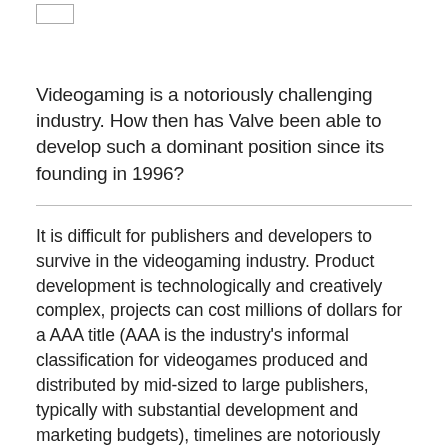Videogaming is a notoriously challenging industry. How then has Valve been able to develop such a dominant position since its founding in 1996?
It is difficult for publishers and developers to survive in the videogaming industry. Product development is technologically and creatively complex, projects can cost millions of dollars for a AAA title (AAA is the industry's informal classification for videogames produced and distributed by mid-sized to large publishers, typically with substantial development and marketing budgets), timelines are notoriously unreliable, and even if the project is eventually